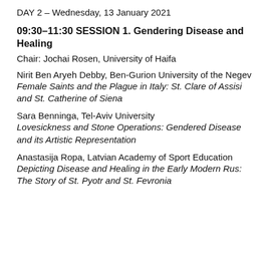DAY 2 – Wednesday, 13 January 2021
09:30–11:30 SESSION 1. Gendering Disease and Healing
Chair: Jochai Rosen, University of Haifa
Nirit Ben Aryeh Debby, Ben-Gurion University of the Negev
Female Saints and the Plague in Italy: St. Clare of Assisi and St. Catherine of Siena
Sara Benninga, Tel-Aviv University
Lovesickness and Stone Operations: Gendered Disease and its Artistic Representation
Anastasija Ropa, Latvian Academy of Sport Education
Depicting Disease and Healing in the Early Modern Rus: The Story of St. Pyotr and St. Fevronia